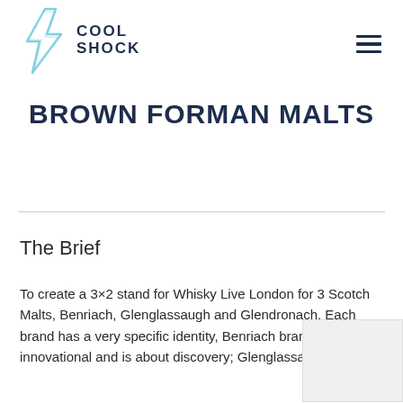COOL SHOCK
BROWN FORMAN MALTS
The Brief
To create a 3×2 stand for Whisky Live London for 3 Scotch Malts, Benriach, Glenglassaugh and Glendronach. Each brand has a very specific identity, Benriach brand identitiy is innovational and is about discovery; Glenglassaugh brand